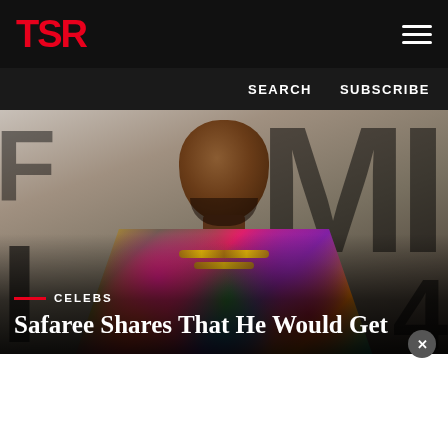TSR
SEARCH   SUBSCRIBE
[Figure (photo): Portrait photo of Safaree wearing a colorful floral Versace-style shirt and gold chains, photographed at an event with large letters in the background]
CELEBS
Safaree Shares That He Would Get